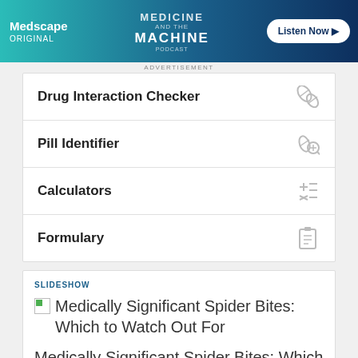[Figure (other): Medscape advertisement banner for 'Medicine and the Machine' podcast with Listen Now button]
ADVERTISEMENT
Drug Interaction Checker
Pill Identifier
Calculators
Formulary
SLIDESHOW
Medically Significant Spider Bites: Which to Watch Out For
Medically Significant Spider Bites: Which to Watch Out For